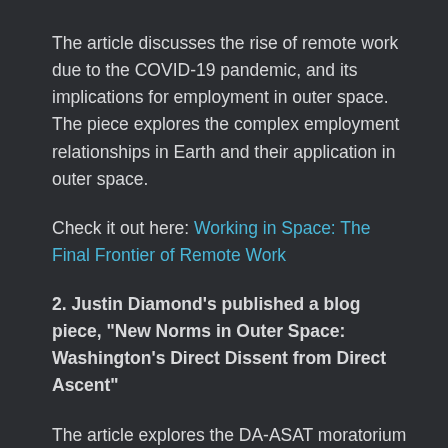The article discusses the rise of remote work due to the COVID-19 pandemic, and its implications for employment in outer space. The piece explores the complex employment relationships in Earth and their application in outer space.
Check it out here: Working in Space: The Final Frontier of Remote Work
2. Justin Diamond's published a blog piece, "New Norms in Outer Space: Washington's Direct Dissent from Direct Ascent"
The article explores the DA-ASAT moratorium by the United States, and its broader implication for human rights.